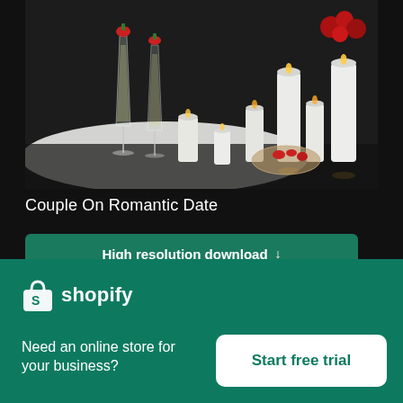[Figure (photo): Romantic date scene with champagne flutes topped with strawberries, white candles of various sizes, and red roses in the background on a dark surface with white fur]
Couple On Romantic Date
High resolution download ↓
[Figure (logo): Shopify logo - shopping bag icon with S and wordmark 'shopify' in white]
Need an online store for your business?
Start free trial